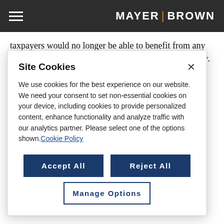MAYER | BROWN
taxpayers would no longer be able to benefit from any tax credits for purposes of calculating the BEAT, if any. The benefit is also muted by the expanded reach of the final bill to corporations that make three percent of
Site Cookies

We use cookies for the best experience on our website. We need your consent to set non-essential cookies on your device, including cookies to provide personalized content, enhance functionality and analyze traffic with our analytics partner. Please select one of the options shown. Cookie Policy

[Accept All] [Reject All]
[Manage Options]